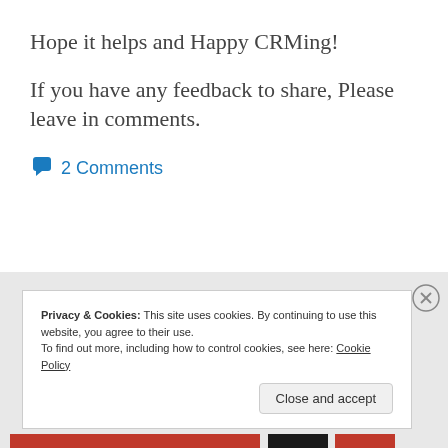Hope it helps and Happy CRMing!
If you have any feedback to share, Please leave in comments.
2 Comments
Privacy & Cookies: This site uses cookies. By continuing to use this website, you agree to their use.
To find out more, including how to control cookies, see here: Cookie Policy
Close and accept